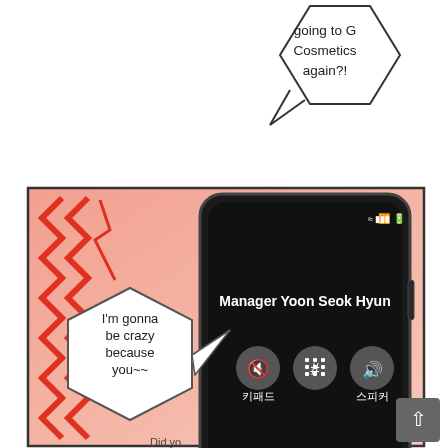[Figure (illustration): Manga/webtoon page. Top: hexagonal speech bubble with text 'going to G Cosmetics again?!' on white background. Bottom: comic panel showing a smartphone with 'Manager Yoon Seok Hyun' on screen with call controls, red zigzag lines on left, and a diamond-shaped speech bubble saying 'I'm gonna be crazy because you~~'. Korean text 키패드 and 스피커 visible. Scroll-up button bottom right.]